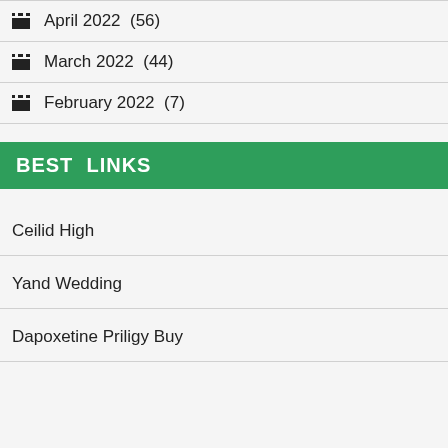April 2022  (56)
March 2022  (44)
February 2022  (7)
BEST LINKS
Ceilid High
Yand Wedding
Dapoxetine Priligy Buy